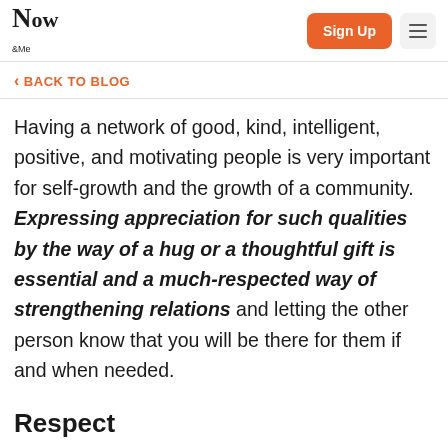Now & Me — Sign Up navigation bar
BACK TO BLOG
Having a network of good, kind, intelligent, positive, and motivating people is very important for self-growth and the growth of a community. Expressing appreciation for such qualities by the way of a hug or a thoughtful gift is essential and a much-respected way of strengthening relations and letting the other person know that you will be there for them if and when needed.
Respect